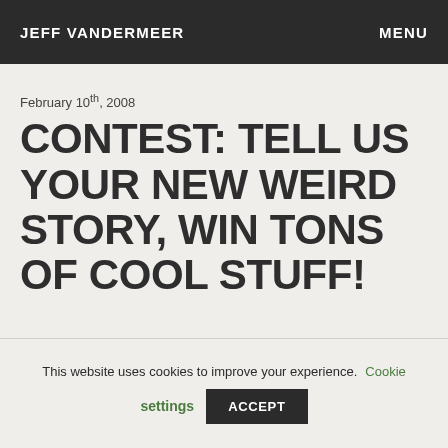JEFF VANDERMEER   MENU
February 10th, 2008
CONTEST: TELL US YOUR NEW WEIRD STORY, WIN TONS OF COOL STUFF!
This website uses cookies to improve your experience.  Cookie settings  ACCEPT